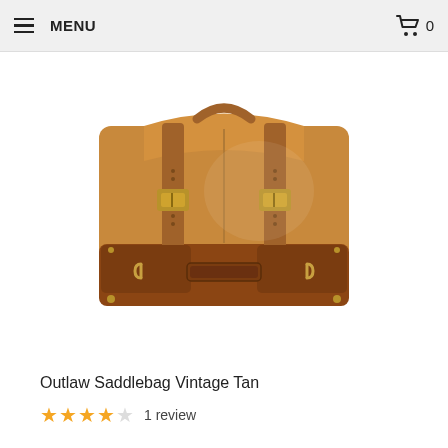MENU  0
[Figure (photo): A tan/brown vintage leather saddlebag with roll-top closure, two brass buckle straps, side D-rings, a top carry handle, and a brand label on the front panel.]
Outlaw Saddlebag Vintage Tan
★★★★☆ 1 review